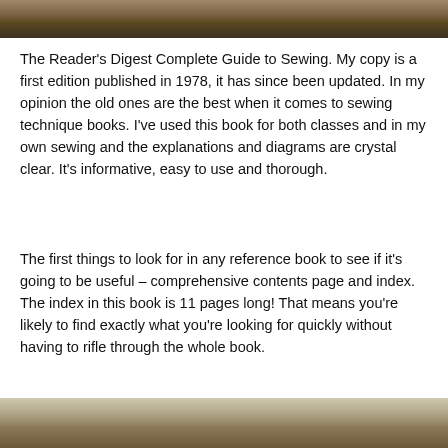[Figure (photo): Top portion of a photo, appears to show a wooden surface or book cover, cropped at the top of the page.]
The Reader's Digest Complete Guide to Sewing.  My copy is a first edition published in 1978, it has since been updated.  In my opinion the old ones are the best when it comes to sewing technique books.  I've used this book for both classes and in my own sewing and the explanations and diagrams are crystal clear.  It's informative, easy to use and thorough.
The first things to look for in any reference book to see if it's going to be useful –  comprehensive contents page and index.  The index in this book is 11 pages long!  That means you're likely to find exactly what you're looking for quickly without having to rifle through the whole book.
[Figure (photo): Bottom portion of a photo, appears to show the bottom of a book or similar object, cropped at the bottom of the page.]